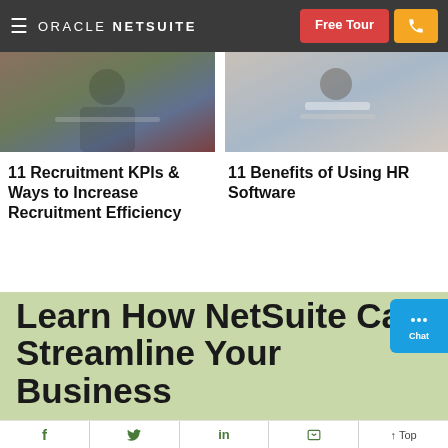ORACLE NETSUITE
[Figure (photo): Person working on laptop, left card image]
[Figure (photo): Business professional working on laptop, right card image]
11 Recruitment KPIs & Ways to Increase Recruitment Efficiency
11 Benefits of Using HR Software
Learn How NetSuite Can Streamline Your Business
f  Twitter  in  Flipboard  ↑ Top